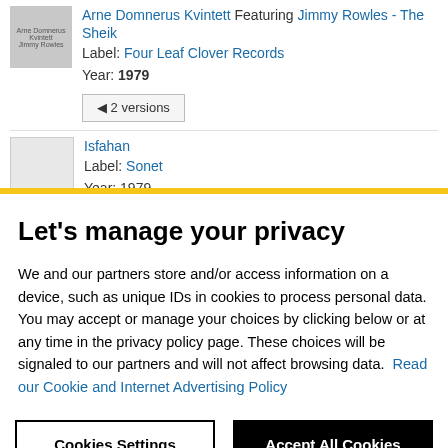Arne Domnerus Kvintett Featuring Jimmy Rowles - The Sheik
Label: Four Leaf Clover Records
Year: 1979
◀ 2 versions
Isfahan
Label: Sonet
Year: 1979
Let's manage your privacy
We and our partners store and/or access information on a device, such as unique IDs in cookies to process personal data. You may accept or manage your choices by clicking below or at any time in the privacy policy page. These choices will be signaled to our partners and will not affect browsing data. Read our Cookie and Internet Advertising Policy
Cookies Settings
Accept All Cookies